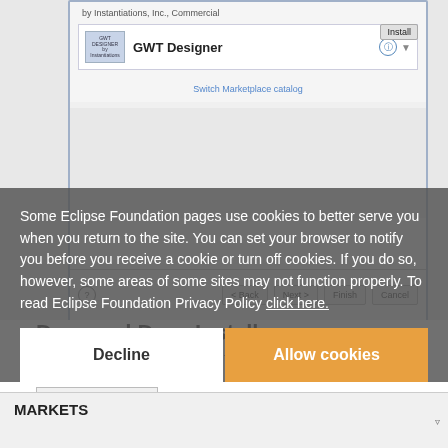[Figure (screenshot): Eclipse Marketplace dialog showing GWT Designer plugin listing with Install button, Switch Marketplace catalog link, and navigation buttons (Back, Next, Finish, Cancel)]
Drag and Drop Install
You can use the Drag and Drop install feature by dragging the button from the browser into Eclipse.
Useful Links
Eclipse Marketplace and Favourites Lists Video
Eclipse Marketplace Client New + Noteworthy
[Figure (screenshot): Cookie consent overlay: 'Some Eclipse Foundation pages use cookies to better serve you when you return to the site. You can set your browser to notify you before you receive a cookie or turn off cookies. If you do so, however, some areas of some sites may not function properly. To read Eclipse Foundation Privacy Policy click here.' with Decline and Allow cookies buttons]
MARKETS